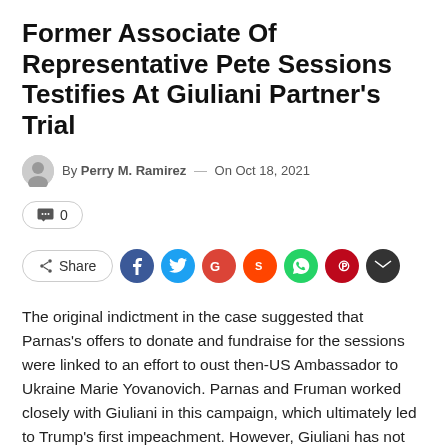Former Associate Of Representative Pete Sessions Testifies At Giuliani Partner's Trial
By Perry M. Ramirez — On Oct 18, 2021
0
Share
The original indictment in the case suggested that Parnas's offers to donate and fundraise for the sessions were linked to an effort to oust then-US Ambassador to Ukraine Marie Yovanovich. Parnas and Fruman worked closely with Giuliani in this campaign, which ultimately led to Trump's first impeachment. However, Giuliani has not been charged in the case, and the Justice Department quietly removed the